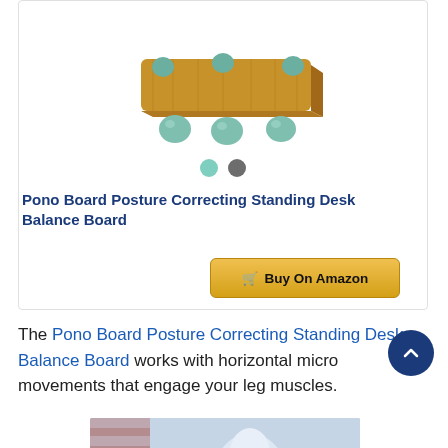[Figure (photo): Pono Board balance board product image — a wooden rectangular board elevated on six teal/sage green spherical ball feet, shown on white background. Below the product are two color selector dots: teal/mint and dark gray.]
Pono Board Posture Correcting Standing Desk Balance Board
[Figure (other): Buy On Amazon button — yellow/gold gradient button with shopping cart icon]
The Pono Board Posture Correcting Standing Desk Balance Board works with horizontal micro movements that engage your leg muscles.
[Figure (photo): Partial photo of a person, visible from bottom of page]